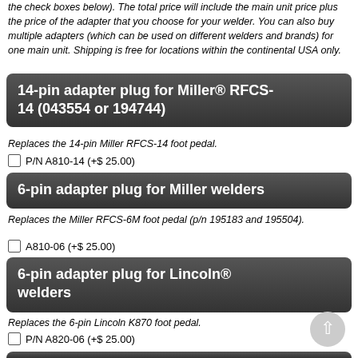the check boxes below). The total price will include the main unit price plus the price of the adapter that you choose for your welder. You can also buy multiple adapters (which can be used on different welders and brands) for one main unit. Shipping is free for locations within the continental USA only.
14-pin adapter plug for Miller® RFCS-14 (043554 or 194744)
Replaces the 14-pin Miller RFCS-14 foot pedal.
P/N A810-14 (+$ 25.00)
6-pin adapter plug for Miller welders
Replaces the Miller RFCS-6M foot pedal (p/n 195183 and 195504).
A810-06 (+$ 25.00)
6-pin adapter plug for Lincoln® welders
Replaces the 6-pin Lincoln K870 foot pedal.
P/N A820-06 (+$ 25.00)